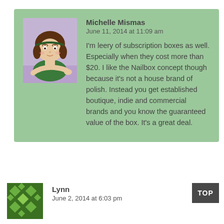[Figure (illustration): Avatar illustration of a cartoon girl with brown hair, wearing a green top, leaning on a purple surface]
Michelle Mismas
June 11, 2014 at 11:09 am
I'm leery of subscription boxes as well. Especially when they cost more than $20. I like the Nailbox concept though because it's not a house brand of polish. Instead you get established boutique, indie and commercial brands and you know the guaranteed value of the box. It's a great deal.
[Figure (logo): Logo with green diamond/house pattern on dark green background]
Lynn
June 2, 2014 at 6:03 pm